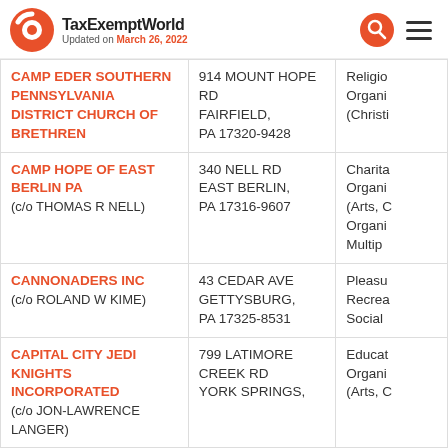TaxExemptWorld - Updated on March 26, 2022
| Organization | Address | Type |
| --- | --- | --- |
| CAMP EDER SOUTHERN PENNSYLVANIA DISTRICT CHURCH OF BRETHREN | 914 MOUNT HOPE RD FAIRFIELD, PA 17320-9428 | Religious Organization (Christian... |
| CAMP HOPE OF EAST BERLIN PA (c/o THOMAS R NELL) | 340 NELL RD EAST BERLIN, PA 17316-9607 | Charitable Organization (Arts, C... Organizations Multiple... |
| CANNONADERS INC (c/o ROLAND W KIME) | 43 CEDAR AVE GETTYSBURG, PA 17325-8531 | Pleasure, Recreational Social... |
| CAPITAL CITY JEDI KNIGHTS INCORPORATED (c/o JON-LAWRENCE LANGER) | 799 LATIMORE CREEK RD YORK SPRINGS, | Educational Organization (Arts, C... |